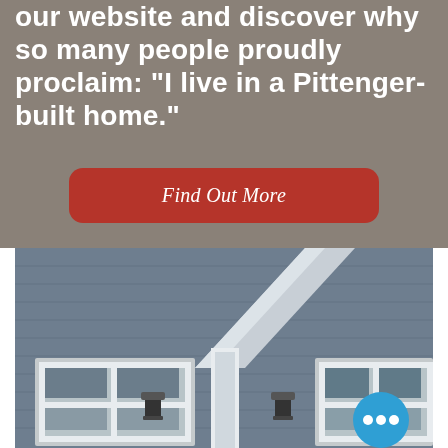our website and discover why so many people proudly proclaim: "I live in a Pittenger-built home."
Find Out More
[Figure (photo): Exterior of a house showing gray shingle siding, white-trimmed windows, a triangular dormer or porch overhang with white trim, and wall-mounted light fixtures. A blue chat bubble with three white dots appears in the lower right corner.]